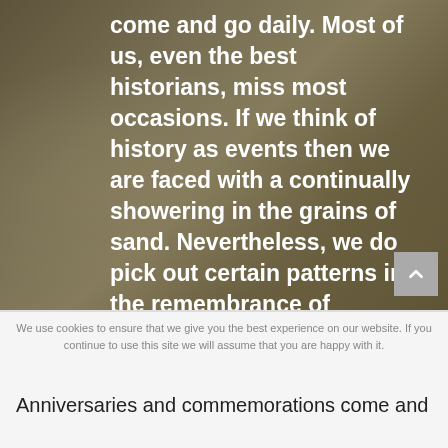[Figure (photo): Background image of sandy desert dunes with rocks, overlaid with a dark olive/tan color tint. Large bold white text overlays the image.]
come and go daily. Most of us, even the best historians, miss most occasions. If we think of history as events then we are faced with a continually showering in the grains of sand. Nevertheless, we do pick out certain patterns in the remembrance of historical dates. The blog here reminds us [...]
We use cookies to ensure that we give you the best experience on our website. If you continue to use this site we will assume that you are happy with it.
Anniversaries and commemorations come and